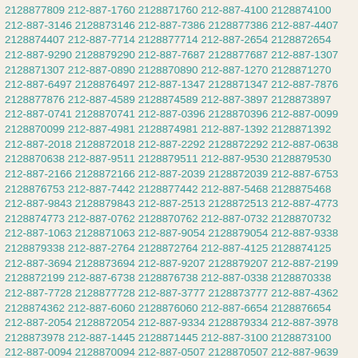2128877809 212-887-1760 2128871760 212-887-4100 2128874100 212-887-3146 2128873146 212-887-7386 2128877386 212-887-4407 2128874407 212-887-7714 2128877714 212-887-2654 2128872654 212-887-9290 2128879290 212-887-7687 2128877687 212-887-1307 2128871307 212-887-0890 2128870890 212-887-1270 2128871270 212-887-6497 2128876497 212-887-1347 2128871347 212-887-7876 2128877876 212-887-4589 2128874589 212-887-3897 2128873897 212-887-0741 2128870741 212-887-0396 2128870396 212-887-0099 2128870099 212-887-4981 2128874981 212-887-1392 2128871392 212-887-2018 2128872018 212-887-2292 2128872292 212-887-0638 2128870638 212-887-9511 2128879511 212-887-9530 2128879530 212-887-2166 2128872166 212-887-2039 2128872039 212-887-6753 2128876753 212-887-7442 2128877442 212-887-5468 2128875468 212-887-9843 2128879843 212-887-2513 2128872513 212-887-4773 2128874773 212-887-0762 2128870762 212-887-0732 2128870732 212-887-1063 2128871063 212-887-9054 2128879054 212-887-9338 2128879338 212-887-2764 2128872764 212-887-4125 2128874125 212-887-3694 2128873694 212-887-9207 2128879207 212-887-2199 2128872199 212-887-6738 2128876738 212-887-0338 2128870338 212-887-7728 2128877728 212-887-3777 2128873777 212-887-4362 2128874362 212-887-6060 2128876060 212-887-6654 2128876654 212-887-2054 2128872054 212-887-9334 2128879334 212-887-3978 2128873978 212-887-1445 2128871445 212-887-3100 2128873100 212-887-0094 2128870094 212-887-0507 2128870507 212-887-9639 2128879639 212-887-1332 2128871332 212-887-8987 2128878987 212-887-0189 2128870189 212-887-5221 2128875221 212-887-3759 2128873759 212-887-1058 2128871058 212-887-5185 2128875185 212-